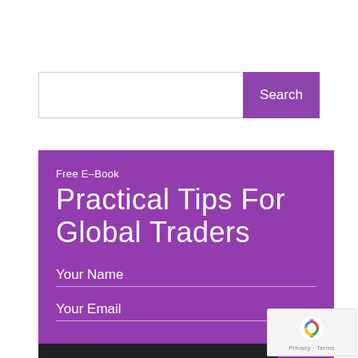[Figure (screenshot): Search bar with white input field and purple 'Search' button]
[Figure (infographic): Purple promotional box for Free E-Book 'Practical Tips For Global Traders' with Your Name and Your Email form fields]
[Figure (logo): reCAPTCHA badge with logo and Privacy/Terms text in lower right corner]